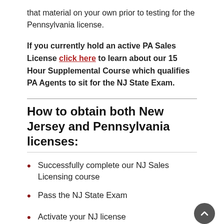that material on your own prior to testing for the Pennsylvania license.
If you currently hold an active PA Sales License click here to learn about our 15 Hour Supplemental Course which qualifies PA Agents to sit for the NJ State Exam.
How to obtain both New Jersey and Pennsylvania licenses:
Successfully complete our NJ Sales Licensing course
Pass the NJ State Exam
Activate your NJ license
Request a Letter of Good Standing from the NJ Real